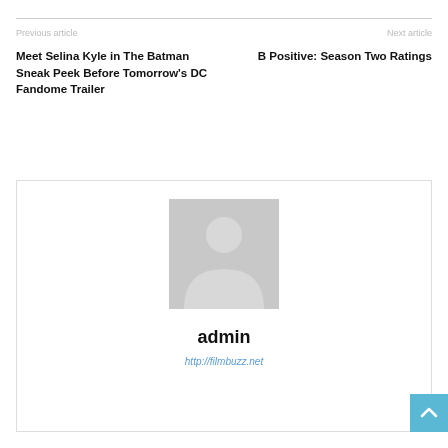Previous article
Next article
Meet Selina Kyle in The Batman Sneak Peek Before Tomorrow's DC Fandome Trailer
B Positive: Season Two Ratings
[Figure (illustration): Generic grey user avatar placeholder image showing silhouette of a person]
admin
http://filmbuzz.net